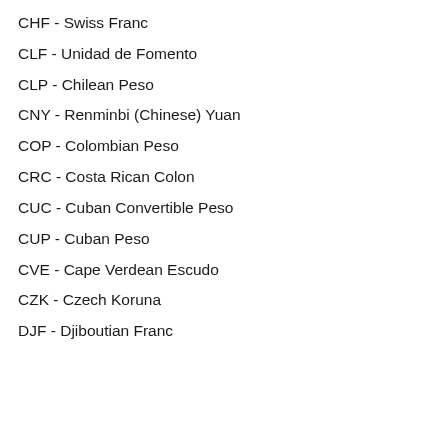CHF - Swiss Franc
CLF - Unidad de Fomento
CLP - Chilean Peso
CNY - Renminbi (Chinese) Yuan
COP - Colombian Peso
CRC - Costa Rican Colon
CUC - Cuban Convertible Peso
CUP - Cuban Peso
CVE - Cape Verdean Escudo
CZK - Czech Koruna
DJF - Djiboutian Franc